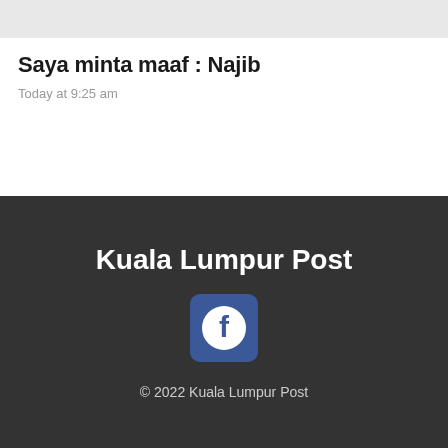Saya minta maaf : Najib
Today at 9:25 am
Kuala Lumpur Post
[Figure (logo): Facebook logo icon — white 'f' on a rounded square with blue background]
© 2022 Kuala Lumpur Post